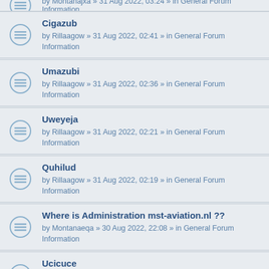Cigazub — by Rillaagow » 31 Aug 2022, 02:41 » in General Forum Information
Umazubi — by Rillaagow » 31 Aug 2022, 02:36 » in General Forum Information
Uweyeja — by Rillaagow » 31 Aug 2022, 02:21 » in General Forum Information
Quhilud — by Rillaagow » 31 Aug 2022, 02:19 » in General Forum Information
Where is Administration mst-aviation.nl ?? — by Montanaeqa » 30 Aug 2022, 22:08 » in General Forum Information
Ucicuce — by Rillaagow » 30 Aug 2022, 21:46 » in General Forum Information
Niwireq — by Rillaagow » 30 Aug 2022, 21:40 » in General Forum Information
Oceridi — by Rillaagow » 30 Aug 2022, 21:25 » in General Forum Information